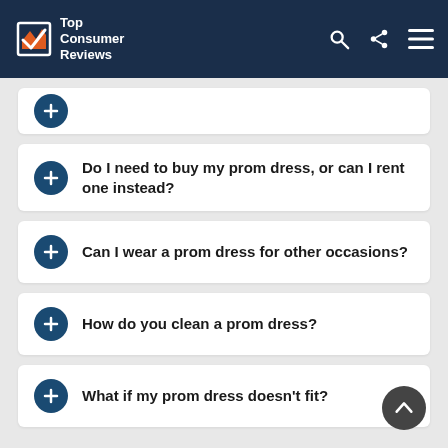Top Consumer Reviews
Do I need to buy my prom dress, or can I rent one instead?
Can I wear a prom dress for other occasions?
How do you clean a prom dress?
What if my prom dress doesn't fit?